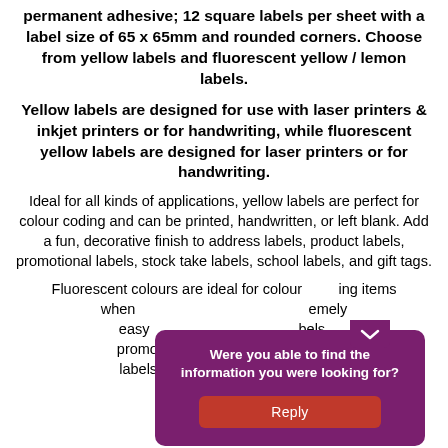permanent adhesive; 12 square labels per sheet with a label size of 65 x 65mm and rounded corners. Choose from yellow labels and fluorescent yellow / lemon labels.
Yellow labels are designed for use with laser printers & inkjet printers or for handwriting, while fluorescent yellow labels are designed for laser printers or for handwriting.
Ideal for all kinds of applications, yellow labels are perfect for colour coding and can be printed, handwritten, or left blank. Add a fun, decorative finish to address labels, product labels, promotional labels, stock take labels, school labels, and gift tags.
Fluorescent colours are ideal for colour coding items when [overlay obscures] extremely easy [overlay obscures] labels, promo[overlay obscures] nent labels [overlay obscures] safety
[Figure (other): A purple popup dialog overlay asking 'Were you able to find the information you were looking for?' with a red 'Reply' button and a chevron/arrow indicator at the top right.]